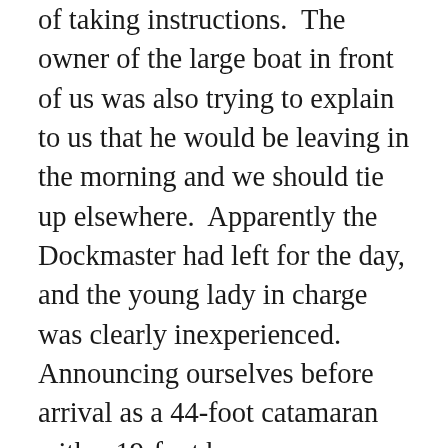of taking instructions.  The owner of the large boat in front of us was also trying to explain to us that he would be leaving in the morning and we should tie up elsewhere.  Apparently the Dockmaster had left for the day, and the young lady in charge was clearly inexperienced.  Announcing ourselves before arrival as a 44-foot catamaran with a 19-foot beam was apparently unclear to her.  Eventually we were moved to a more suitable slip.  Meanwhile, the other captain proved to be a very friendly and chatty individual.  He entertained us with his story of the morning before.  He had bought a muffin at the small kiosk on the shore, and was eating it when he noticed a small dinghy coming into the dock.  Helpful chap that he is, he stepped up and took the line and was just